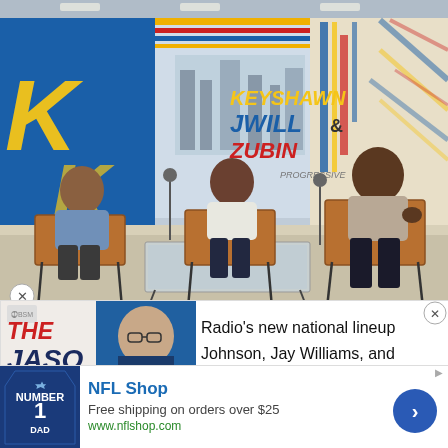[Figure (photo): TV studio set with three hosts seated on chairs. The set shows branding for 'Keyshawn JWill & Zubin' with Progressive sponsorship. Blue, yellow, and red graphic elements on the backdrop.]
[Figure (photo): Overlay advertisement showing 'The Jason Barrett Podcast' with Paul Finebaum photo and caption 'PAUL FINEBAUM KNOWS THE POWER'. Partial text visible: Radio's new national lineup, Johnson, Jay Williams, and...]
[Figure (photo): NFL Shop advertisement banner. Shows a Dallas Cowboys jersey with 'Number 1 Dad'. Text: 'NFL Shop', 'Free shipping on orders over $25', 'www.nflshop.com'. Blue arrow button on right.]